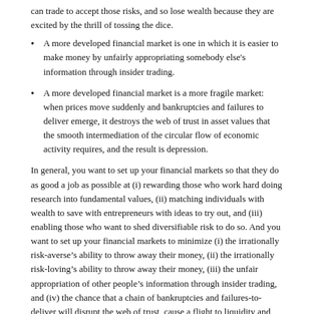can trade to accept those risks, and so lose wealth because they are excited by the thrill of tossing the dice.
A more developed financial market is one in which it is easier to make money by unfairly appropriating somebody else's information through insider trading.
A more developed financial market is a more fragile market: when prices move suddenly and bankruptcies and failures to deliver emerge, it destroys the web of trust in asset values that the smooth intermediation of the circular flow of economic activity requires, and the result is depression.
In general, you want to set up your financial markets so that they do as good a job as possible at (i) rewarding those who work hard doing research into fundamental values, (ii) matching individuals with wealth to save with entrepreneurs with ideas to try out, and (iii) enabling those who want to shed diversifiable risk to do so. And you want to set up your financial markets to minimize (i) the irrationally risk-averse’s ability to throw away their money, (ii) the irrationally risk-loving’s ability to throw away their money, (iii) the unfair appropriation of other people’s information through insider trading, and (iv) the chance that a chain of bankruptcies and failures-to-deliver will disrupt the web of trust, cause a flight to liquidity and quality, and create a depression in the real economy.